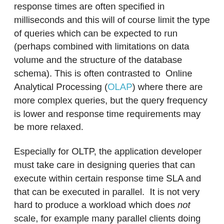response times are often specified in milliseconds and this will of course limit the type of queries which can be expected to run (perhaps combined with limitations on data volume and the structure of the database schema). This is often contrasted to Online Analytical Processing (OLAP) where there are more complex queries, but the query frequency is lower and response time requirements may be more relaxed.
Especially for OLTP, the application developer must take care in designing queries that can execute within certain response time SLA and that can be executed in parallel. It is not very hard to produce a workload which does not scale, for example many parallel clients doing nothing other than updating the